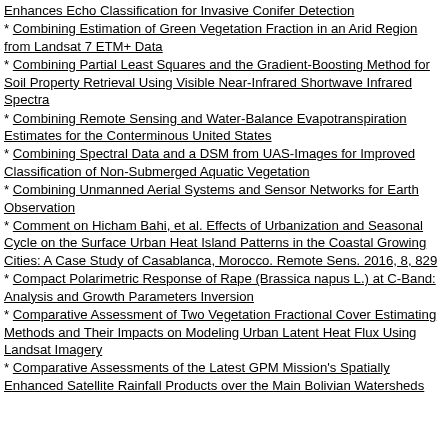Enhances Echo Classification for Invasive Conifer Detection
* Combining Estimation of Green Vegetation Fraction in an Arid Region from Landsat 7 ETM+ Data
* Combining Partial Least Squares and the Gradient-Boosting Method for Soil Property Retrieval Using Visible Near-Infrared Shortwave Infrared Spectra
* Combining Remote Sensing and Water-Balance Evapotranspiration Estimates for the Conterminous United States
* Combining Spectral Data and a DSM from UAS-Images for Improved Classification of Non-Submerged Aquatic Vegetation
* Combining Unmanned Aerial Systems and Sensor Networks for Earth Observation
* Comment on Hicham Bahi, et al. Effects of Urbanization and Seasonal Cycle on the Surface Urban Heat Island Patterns in the Coastal Growing Cities: A Case Study of Casablanca, Morocco. Remote Sens. 2016, 8, 829
* Compact Polarimetric Response of Rape (Brassica napus L.) at C-Band: Analysis and Growth Parameters Inversion
* Comparative Assessment of Two Vegetation Fractional Cover Estimating Methods and Their Impacts on Modeling Urban Latent Heat Flux Using Landsat Imagery
* Comparative Assessments of the Latest GPM Mission's Spatially Enhanced Satellite Rainfall Products over the Main Bolivian Watersheds